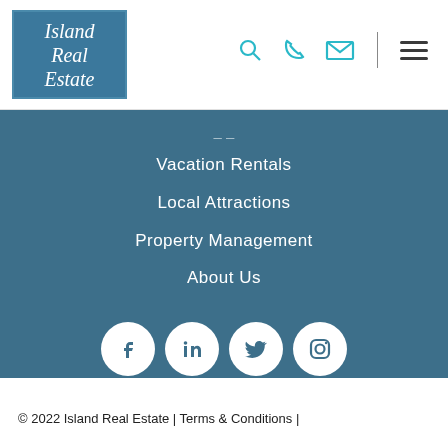[Figure (logo): Island Real Estate logo in a teal/blue bordered box with italic script text]
Vacation Rentals
Local Attractions
Property Management
About Us
[Figure (illustration): Social media icon circles: Facebook, LinkedIn, Twitter, Instagram]
© 2022 Island Real Estate | Terms & Conditions |